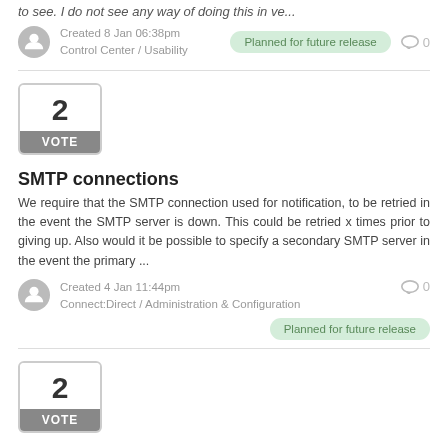to see. I do not see any way of doing this in ve...
Created 8 Jan 06:38pm
Control Center / Usability
Planned for future release
0
2
VOTE
SMTP connections
We require that the SMTP connection used for notification, to be retried in the event the SMTP server is down. This could be retried x times prior to giving up. Also would it be possible to specify a secondary SMTP server in the event the primary ...
Created 4 Jan 11:44pm
Connect:Direct / Administration & Configuration
0
Planned for future release
2
VOTE